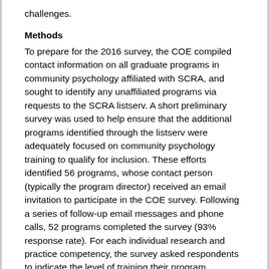challenges.
Methods
To prepare for the 2016 survey, the COE compiled contact information on all graduate programs in community psychology affiliated with SCRA, and sought to identify any unaffiliated programs via requests to the SCRA listserv. A short preliminary survey was used to help ensure that the additional programs identified through the listserv were adequately focused on community psychology training to qualify for inclusion. These efforts identified 56 programs, whose contact person (typically the program director) received an email invitation to participate in the COE survey. Following a series of follow-up email messages and phone calls, 52 programs completed the survey (93% response rate). For each individual research and practice competency, the survey asked respondents to indicate the level of training their program provides, on a 4-point scale (1= None, 2=Exposure, and 3 = Experience, 4=Expertise). The survey also asked respondents to identify any challenges theirprogram had experienced in the past year